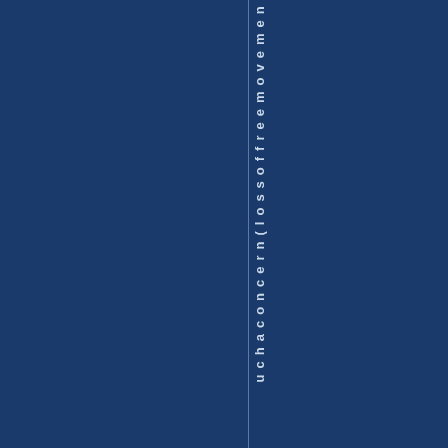u c h a c o n c e r n ( l o s s o f f r e e m o v e m e n t